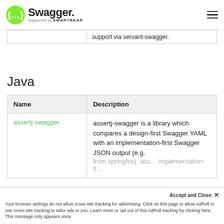Swagger — Supported by SMARTBEAR
|  |  |
| --- | --- |
|  | support via servant-swagger. |
Java
| Name | Description |
| --- | --- |
| assertj-swagger | assertj-swagger is a library which compares a design-first Swagger YAML with an implementation-first Swagger JSON output (e.g. from springfox). ass… implementation-fi… |
Accept and Close ✕
Your browser settings do not allow cross-site tracking for advertising. Click on this page to allow AdRoll to use cross-site tracking to tailor ads to you. Learn more or opt out of this AdRoll tracking by clicking here. This message only appears once.